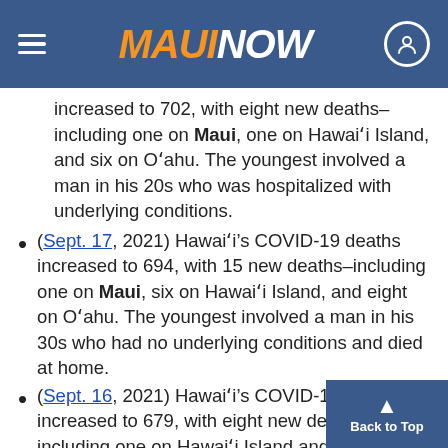MAUI NOW
increased to 702, with eight new deaths–including one on Maui, one on Hawaiʻi Island, and six on Oʻahu. The youngest involved a man in his 20s who was hospitalized with underlying conditions.
(Sept. 17, 2021) Hawaiʻi’s COVID-19 deaths increased to 694, with 15 new deaths–including one on Maui, six on Hawaiʻi Island, and eight on Oʻahu. The youngest involved a man in his 30s who had no underlying conditions and died at home.
(Sept. 16, 2021) Hawaiʻi’s COVID-19 deaths increased to 679, with eight new deaths–including one on Hawaiʻi Island and seven on Oʻahu. All had underlying conditions, with youngest death today involving a woman 30s.